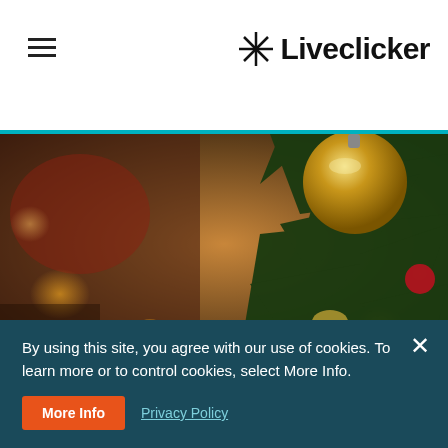Liveclicker
[Figure (photo): Close-up photograph of a Christmas tree with a golden ornament ball, pine branches, warm bokeh lights, and a red decoration, with a blurred background.]
FROM THE BLOG
5 Last-Minute Tactics to Maximize Holiday Email
By using this site, you agree with our use of cookies. To learn more or to control cookies, select More Info.
More Info   Privacy Policy